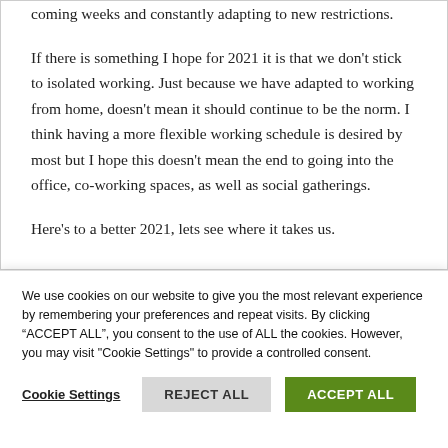coming weeks and constantly adapting to new restrictions.
If there is something I hope for 2021 it is that we don't stick to isolated working. Just because we have adapted to working from home, doesn't mean it should continue to be the norm. I think having a more flexible working schedule is desired by most but I hope this doesn't mean the end to going into the office, co-working spaces, as well as social gatherings.
Here's to a better 2021, lets see where it takes us.
We use cookies on our website to give you the most relevant experience by remembering your preferences and repeat visits. By clicking “ACCEPT ALL”, you consent to the use of ALL the cookies. However, you may visit "Cookie Settings" to provide a controlled consent.
Cookie Settings
REJECT ALL
ACCEPT ALL